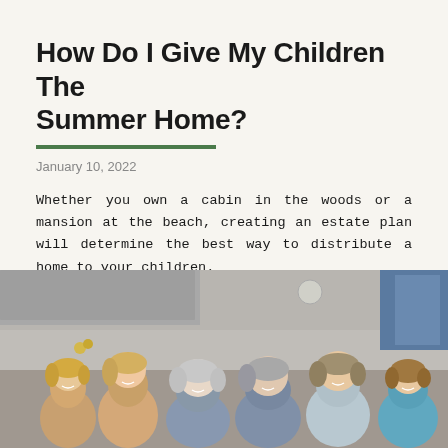How Do I Give My Children The Summer Home?
January 10, 2022
Whether you own a cabin in the woods or a mansion at the beach, creating an estate plan will determine the best way to distribute a home to your children.
❯ Read More
[Figure (photo): A multi-generational family smiling together in a kitchen setting, including children, parents, and grandparents.]